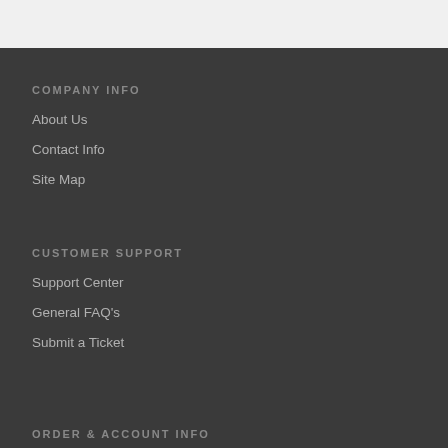COMPANY INFO
About Us
Contact Info
Site Map
CUSTOMER SUPPORT
Support Center
General FAQ's
Submit a Ticket
ORDER & ACCOUNT INFO